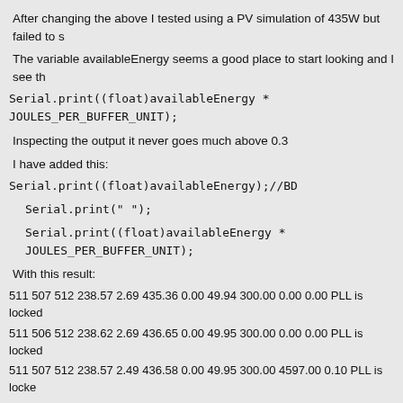After changing the above I tested using a PV simulation of 435W but failed to s
The variable availableEnergy seems a good place to start looking and I see th
Serial.print((float)availableEnergy * JOULES_PER_BUFFER_UNIT);
Inspecting the output it never goes much above 0.3
I have added this:
Serial.print((float)availableEnergy);//BD
Serial.print(" ");
Serial.print((float)availableEnergy * JOULES_PER_BUFFER_UNIT);
With this result:
511 507 512 238.57 2.69 435.36 0.00 49.94 300.00 0.00 0.00 PLL is locked
511 506 512 238.62 2.69 436.65 0.00 49.95 300.00 0.00 0.00 PLL is locked
511 507 512 238.57 2.49 436.58 0.00 49.95 300.00 4597.00 0.10 PLL is locke
511 507 512 238.66 2.65 436.64 0.00 49.96 300.00 5686.00 0.12 PLL is locke
511 507 512 238.66 2.39 436.84 0.00 49.95 300.00 0.00 0.00 PLL is locked
511 506 512 238.67 3.49 437.41 0.00 49.95 300.00 0.00 0.00 PLL is locked
511 506 512 238.86 4.31 438.07 0.00 49.96 300.00 0.00 0.00 PLL is locked
511 506 512 239.01 2.44 437.54 0.00 49.96 300.00 0.00 0.00 PLL is locked